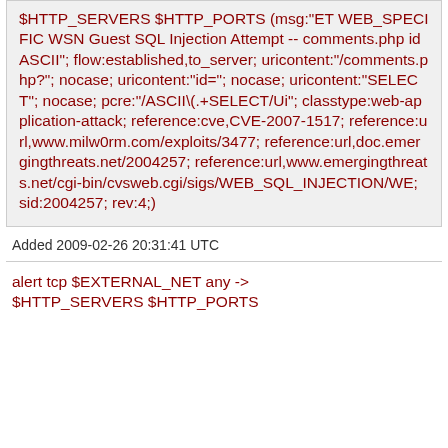$HTTP_SERVERS $HTTP_PORTS (msg:"ET WEB_SPECIFIC WSN Guest SQL Injection Attempt -- comments.php id ASCII"; flow:established,to_server; uricontent:"/comments.php?"; nocase; uricontent:"id="; nocase; uricontent:"SELECT"; nocase; pcre:"/ASCII\(.+SELECT/Ui"; classtype:web-application-attack; reference:cve,CVE-2007-1517; reference:url,www.milw0rm.com/exploits/3477; reference:url,doc.emergingthreats.net/2004257; reference:url,www.emergingthreats.net/cgi-bin/cvsweb.cgi/sigs/WEB_SQL_INJECTION/WE; sid:2004257; rev:4;)
Added 2009-02-26 20:31:41 UTC
alert tcp $EXTERNAL_NET any -> $HTTP_SERVERS $HTTP_PORTS